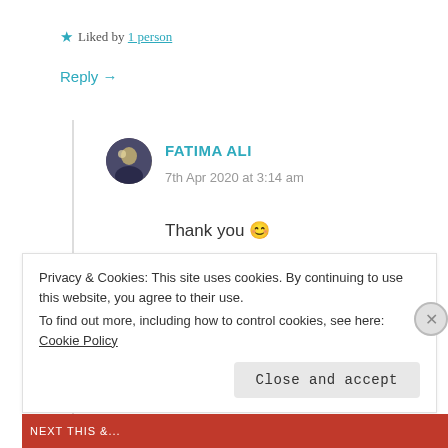★ Liked by 1 person
Reply →
FATIMA ALI
7th Apr 2020 at 3:14 am
Thank you 😊
★ Like
Reply →
Privacy & Cookies: This site uses cookies. By continuing to use this website, you agree to their use. To find out more, including how to control cookies, see here: Cookie Policy
Close and accept